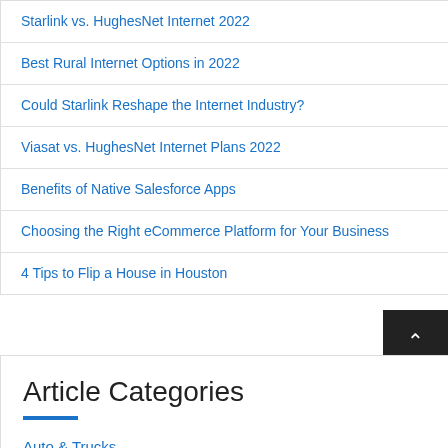Starlink vs. HughesNet Internet 2022
Best Rural Internet Options in 2022
Could Starlink Reshape the Internet Industry?
Viasat vs. HughesNet Internet Plans 2022
Benefits of Native Salesforce Apps
Choosing the Right eCommerce Platform for Your Business
4 Tips to Flip a House in Houston
Article Categories
Auto & Trucks